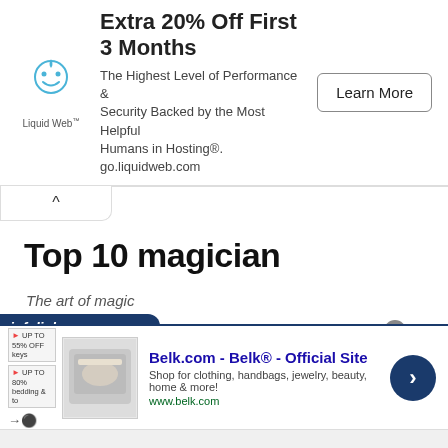[Figure (infographic): Liquid Web advertisement banner: Extra 20% Off First 3 Months. The Highest Level of Performance & Security Backed by the Most Helpful Humans in Hosting®. go.liquidweb.com. Learn More button.]
Top 10 magician
The art of magic
[Figure (infographic): Infolinks ad banner for Belk.com - Belk® - Official Site. Shop for clothing, handbags, jewelry, beauty, home & more! www.belk.com]